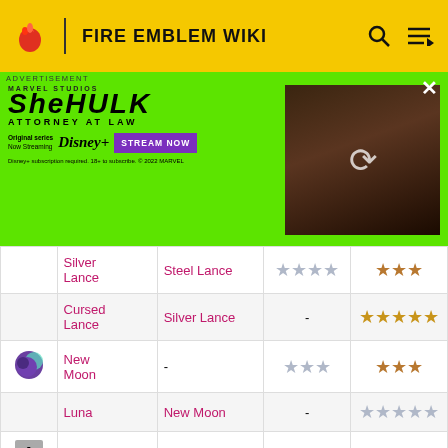FIRE EMBLEM WIKI
[Figure (screenshot): She-Hulk Attorney at Law Disney+ advertisement with green background]
| Icon | Name | Upgrade | Rank | Rank |
| --- | --- | --- | --- | --- |
|  | Silver Lance | Steel Lance | ★★★★ | ★★★ |
|  | Cursed Lance | Silver Lance | - | ★★★★★ |
| [moon icon] | New Moon | - | ★★★ | ★★★ |
|  | Luna | New Moon | - | ★★★★★ |
| A |  | - |  | - |